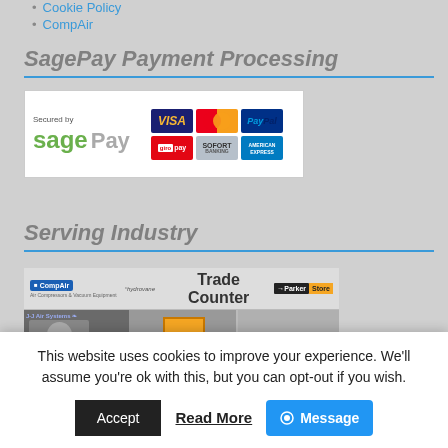Cookie Policy
CompAir
SagePay Payment Processing
[Figure (screenshot): SagePay 'Secured by sage Pay' badge with payment icons: VISA, Mastercard, PayPal, giropay, SOFORT, American Express]
Serving Industry
[Figure (photo): Trade counter storefront showing CompAir, hydrovane, Parker Store logos with trade counter signage and industrial equipment photos below]
This website uses cookies to improve your experience. We'll assume you're ok with this, but you can opt-out if you wish.
Accept  Read More  Message